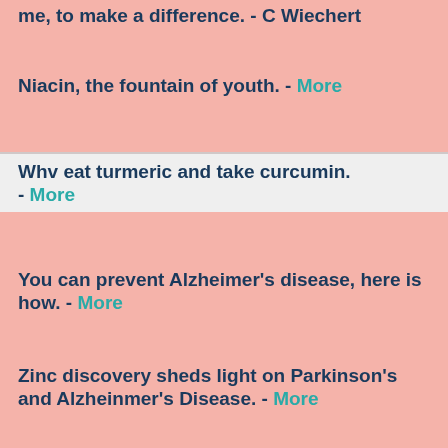me, to make a difference. - C Wiechert
Niacin, the fountain of youth. - More
Why eat turmeric and take curcumin. - More
You can prevent Alzheimer's disease, here is how. - More
Zinc discovery sheds light on Parkinson's and Alzheinmer's Disease. - More